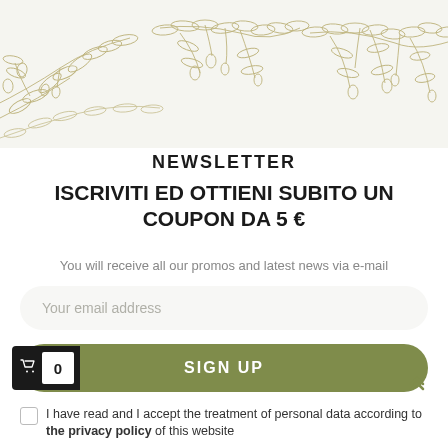[Figure (illustration): Decorative olive branch line art illustration spanning the top banner area, showing olive branches with leaves and olives in a golden/green outline style on a light beige background.]
NEWSLETTER
ISCRIVITI ED OTTIENI SUBITO UN COUPON DA 5 €
You will receive all our promos and latest news via e-mail
Your email address
SIGN UP
I have read and I accept the treatment of personal data according to the privacy policy of this website